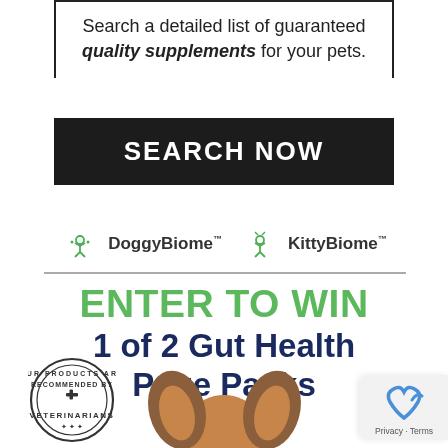Search a detailed list of guaranteed quality supplements for your pets.
[Figure (other): Black button with white bold text reading SEARCH NOW]
[Figure (logo): DoggyBiome™ and KittyBiome™ logos with dog/cat icons]
ENTER TO WIN 1 of 2 Gut Health Prize Packs
[Figure (other): Veterinarian recommended badge stamp and dog photo at bottom]